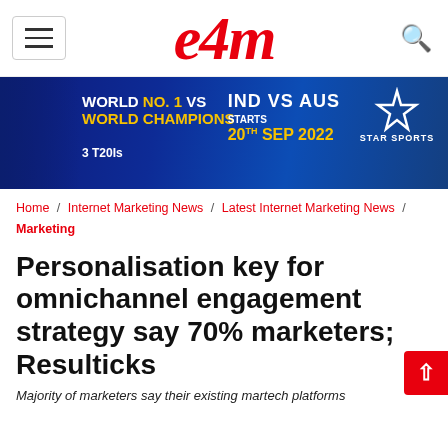e4m
[Figure (photo): Cricket advertisement banner: Star Sports IND vs AUS, World No.1 vs World Champions, 3 T20Is, Starts 20th Sep 2022]
Home / Internet Marketing News / Latest Internet Marketing News / Marketing
Personalisation key for omnichannel engagement strategy say 70% marketers; Resulticks
Majority of marketers say their existing martech platforms